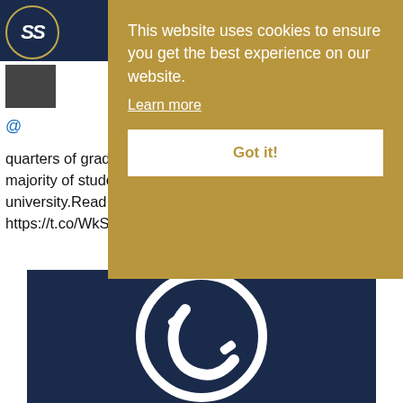[Figure (logo): Circular logo with SS initials on dark navy background with gold border]
[Figure (photo): Small avatar/thumbnail image]
@
quarters of grades being between A* to B and the vast majority of students securing their first choice university.Read more here: https://t.co/eKVc2HClSA https://t.co/WkSMAxa9Pl
[Figure (illustration): Phone/telephone icon in white inside a circle on dark navy background]
This website uses cookies to ensure you get the best experience on our website.
Learn more
Got it!